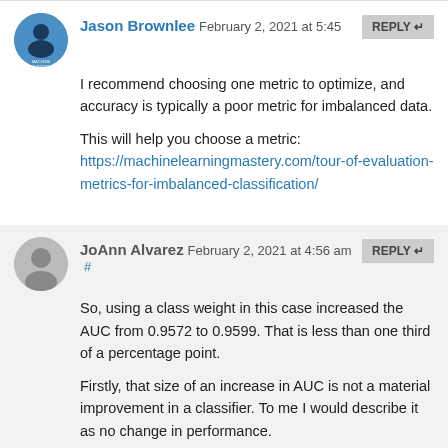Jason Brownlee February 2, 2021 at 5:45
I recommend choosing one metric to optimize, and accuracy is typically a poor metric for imbalanced data.

This will help you choose a metric:
https://machinelearningmastery.com/tour-of-evaluation-metrics-for-imbalanced-classification/
JoAnn Alvarez February 2, 2021 at 4:56 am #
So, using a class weight in this case increased the AUC from 0.9572 to 0.9599. That is less than one third of a percentage point.

Firstly, that size of an increase in AUC is not a material improvement in a classifier. To me I would describe it as no change in performance.